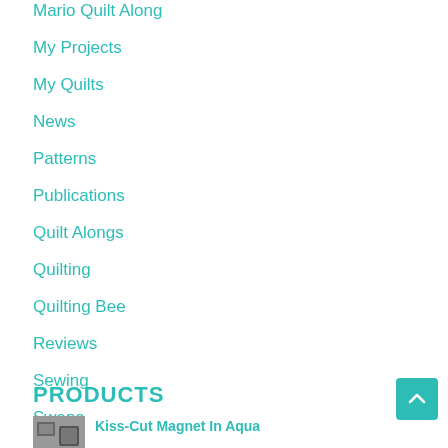Mario Quilt Along
My Projects
My Quilts
News
Patterns
Publications
Quilt Alongs
Quilting
Quilting Bee
Reviews
Sewing
Swaps
Teaching
Tutorials
PRODUCTS
Kiss-Cut Magnet In Aqua